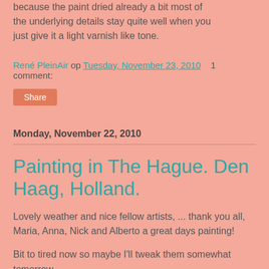because the paint dried already a bit most of the underlying details stay quite well when you just give it a light varnish like tone.
René PleinAir op Tuesday, November 23, 2010    1 comment:
Share
Monday, November 22, 2010
Painting in The Hague. Den Haag, Holland.
Lovely weather and nice fellow artists, ... thank you all, Maria, Anna, Nick and Alberto a great days painting!
Bit to tired now so maybe I'll tweak them somewhat tomorrow.
but I had to place them.
[Figure (photo): A painting or photo showing The Hague scenery, partially visible at bottom of page.]